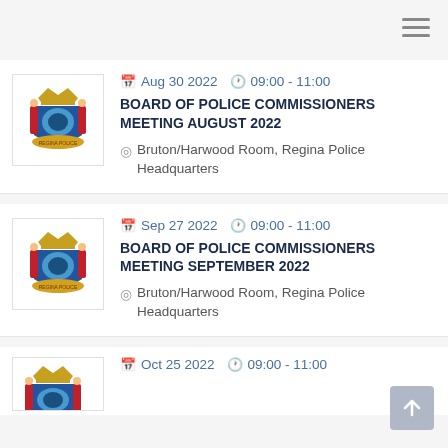[Figure (logo): Hamburger menu icon (three horizontal lines) in top right corner]
[Figure (logo): Regina Police Service coat of arms logo]
Aug 30 2022  09:00 - 11:00
BOARD OF POLICE COMMISSIONERS MEETING AUGUST 2022
Bruton/Harwood Room, Regina Police Headquarters
[Figure (logo): Regina Police Service coat of arms logo]
Sep 27 2022  09:00 - 11:00
BOARD OF POLICE COMMISSIONERS MEETING SEPTEMBER 2022
Bruton/Harwood Room, Regina Police Headquarters
[Figure (logo): Regina Police Service coat of arms logo (partial)]
Oct 25 2022  09:00 - 11:00